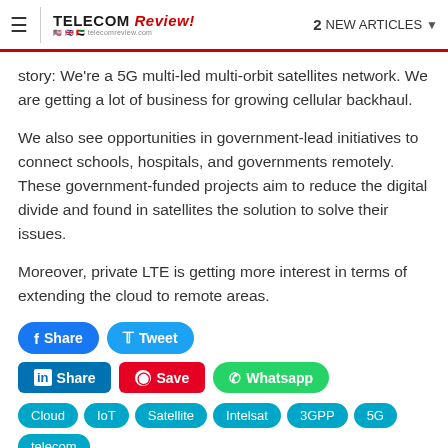≡  TELECOM Review  2 NEW ARTICLES ▾
story: We're a 5G multi-led multi-orbit satellites network. We are getting a lot of business for growing cellular backhaul.
We also see opportunities in government-lead initiatives to connect schools, hospitals, and governments remotely. These government-funded projects aim to reduce the digital divide and found in satellites the solution to solve their issues.
Moreover, private LTE is getting more interest in terms of extending the cloud to remote areas.
Social share buttons: Share, Tweet, Share (LinkedIn), Save (Pinterest), Whatsapp
Tags: Cloud, IoT, Satellite, Intelsat, 3GPP, 5G, telecom